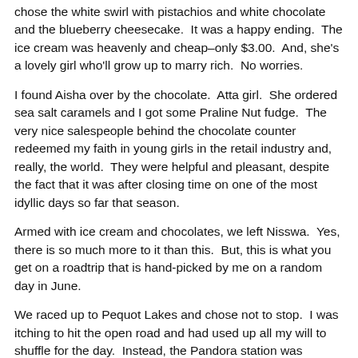chose the white swirl with pistachios and white chocolate and the blueberry cheesecake. It was a happy ending. The ice cream was heavenly and cheap–only $3.00. And, she's a lovely girl who'll grow up to marry rich. No worries.
I found Aisha over by the chocolate. Atta girl. She ordered sea salt caramels and I got some Praline Nut fudge. The very nice salespeople behind the chocolate counter redeemed my faith in young girls in the retail industry and, really, the world. They were helpful and pleasant, despite the fact that it was after closing time on one of the most idyllic days so far that season.
Armed with ice cream and chocolates, we left Nisswa. Yes, there is so much more to it than this. But, this is what you get on a roadtrip that is hand-picked by me on a random day in June.
We raced up to Pequot Lakes and chose not to stop. I was itching to hit the open road and had used up all my will to shuffle for the day. Instead, the Pandora station was playing Moby, the top on the Jeep was back, and we had some exploring to do.
And explore, we did. I drove “over” from Pequot Lakes to Breezy Point. Knowing that my favorite radio station, KLKS, comes out of Breezy Point and that many a timeshare is reserved there, I wanted to see what it was all about. We drove in and around the